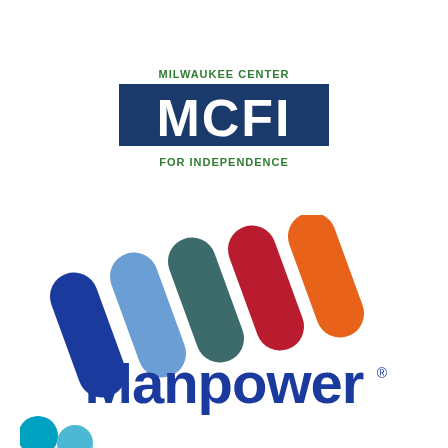[Figure (logo): MCFI Milwaukee Center For Independence logo — green text 'MILWAUKEE CENTER' above a dark blue rectangle containing large white letters 'MCFI', with green text 'FOR INDEPENDENCE' below]
[Figure (logo): Manpower logo — five diagonal rounded bars in blue, light blue, teal/dark green, red/crimson, and orange colors above the word 'Manpower' in blue with a registered trademark symbol]
[Figure (logo): Partial logo at bottom — two teal/blue circular dots visible at bottom left corner, logo cut off]